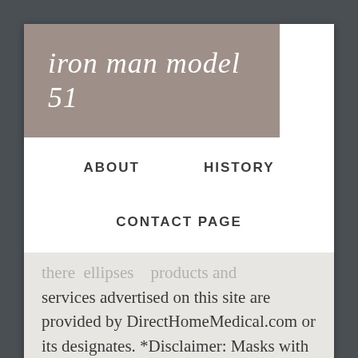iron man model 51
ABOUT   HISTORY
CONTACT PAGE
...there are... products and services advertised on this site are provided by DirectHomeMedical.com or its designates. *Disclaimer: Masks with standard 22mm outer diameter connection. An optional rechargeable battery allows you to use this sleep apnea machine when no AC power source is available.